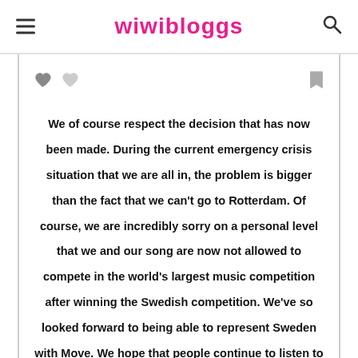wiwibloggs
We of course respect the decision that has now been made. During the current emergency crisis situation that we are all in, the problem is bigger than the fact that we can't go to Rotterdam. Of course, we are incredibly sorry on a personal level that we and our song are now not allowed to compete in the world's largest music competition after winning the Swedish competition. We've so looked forward to being able to represent Sweden with Move. We hope that people continue to listen to our song with the message that we can move mountains together, something that feels extra